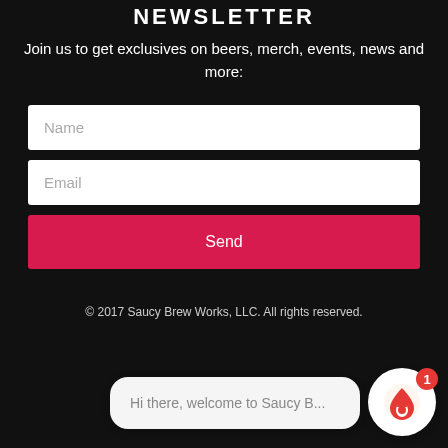NEWSLETTER
Join us to get exclusives on beers, merch, events, news and more:
[Figure (screenshot): Newsletter signup form with Name input field, Email input field, and a red Send button on a dark background]
© 2017 Saucy Brew Works, LLC. All rights reserved.
[Figure (screenshot): Chat widget showing 'Hi there, welcome to Saucy B...' message bubble with a flame/drop logo icon and red notification badge showing 1]